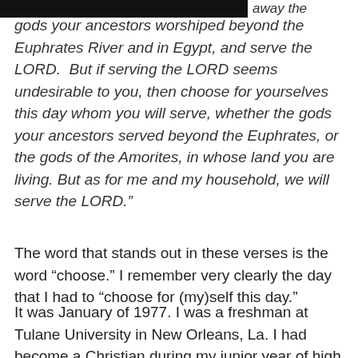[Figure (other): Black banner image at top of page, partially cropped]
away the gods your ancestors worshiped beyond the Euphrates River and in Egypt, and serve the LORD.  But if serving the LORD seems undesirable to you, then choose for yourselves this day whom you will serve, whether the gods your ancestors served beyond the Euphrates, or the gods of the Amorites, in whose land you are living. But as for me and my household, we will serve the LORD.”
The word that stands out in these verses is the word “choose.” I remember very clearly the day that I had to “choose for (my)self this day.”
It was January of 1977. I was a freshman at Tulane University in New Orleans, La. I had become a Christian during my junior year of high school—or at